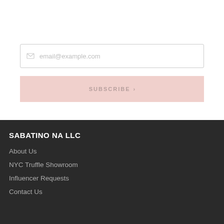[Figure (other): Email input field with placeholder text email@example.com]
SUBSCRIBE →
SABATINO NA LLC
About Us
NYC Truffle Showroom
Influencer Requests
Contact Us